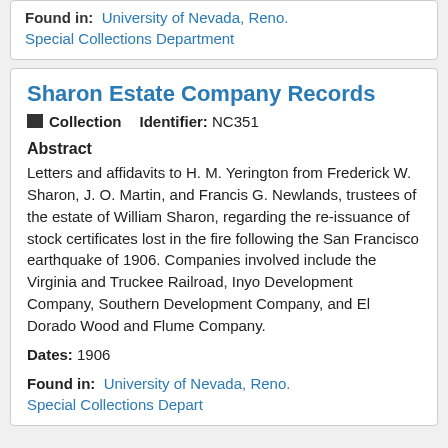Found in: University of Nevada, Reno. Special Collections Department
Sharon Estate Company Records
Collection   Identifier: NC351
Abstract
Letters and affidavits to H. M. Yerington from Frederick W. Sharon, J. O. Martin, and Francis G. Newlands, trustees of the estate of William Sharon, regarding the re-issuance of stock certificates lost in the fire following the San Francisco earthquake of 1906. Companies involved include the Virginia and Truckee Railroad, Inyo Development Company, Southern Development Company, and El Dorado Wood and Flume Company.
Dates: 1906
Found in: University of Nevada, Reno. Special Collections Department